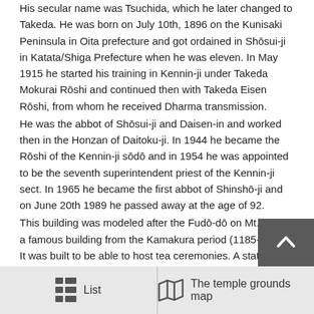His secular name was Tsuchida, which he later changed to Takeda. He was born on July 10th, 1896 on the Kunisaki Peninsula in Oita prefecture and got ordained in Shōsui-ji in Katata/Shiga Prefecture when he was eleven. In May 1915 he started his training in Kennin-ji under Takeda Mokurai Rōshi and continued then with Takeda Eisen Rōshi, from whom he received Dharma transmission.
He was the abbot of Shōsui-ji and Daisen-in and worked then in the Honzan of Daitoku-ji. In 1944 he became the Rōshi of the Kennin-ji sōdō and in 1954 he was appointed to be the seventh superintendent priest of the Kennin-ji sect. In 1965 he became the first abbot of Shinshō-ji and on June 20th 1989 he passed away at the age of 92.
This building was modeled after the Fudō-dō on Mt. Kōya, a famous building from the Kamakura period (1185-1333). It was built to be able to host tea ceremonies. A statue of the temple founder by the Kyōto potter Murata Tōen is enshrined inside. The characters on the front of the building were written by Master Matsuo Tainen, the former superintendent priest of the Engaku-ji school.
The bath is one of the seven regular buildings (temple gate, lecture hall,
List   The temple grounds map